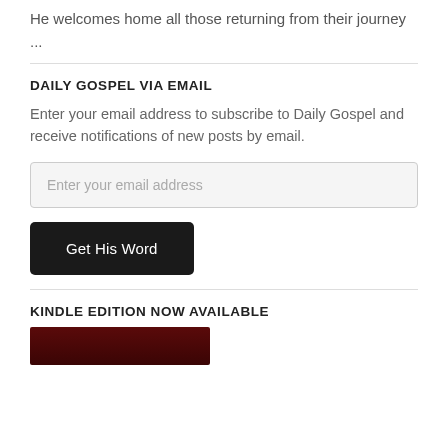He welcomes home all those returning from their journey ...
DAILY GOSPEL VIA EMAIL
Enter your email address to subscribe to Daily Gospel and receive notifications of new posts by email.
Enter your email address
Get His Word
KINDLE EDITION NOW AVAILABLE
[Figure (photo): Dark red/maroon book cover image at bottom of page]